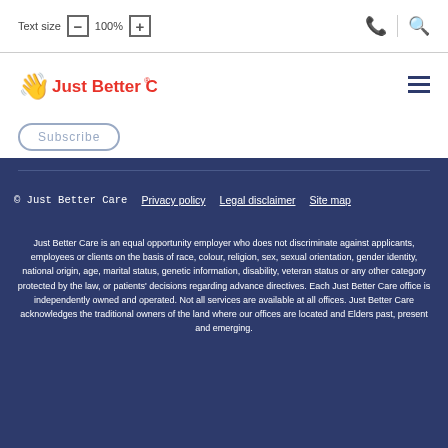Text size  —  100%  +  [phone icon]  [search icon]
[Figure (logo): Just Better Care logo with hand icon in red]
Subscribe
© Just Better Care   Privacy policy   Legal disclaimer   Site map
Just Better Care is an equal opportunity employer who does not discriminate against applicants, employees or clients on the basis of race, colour, religion, sex, sexual orientation, gender identity, national origin, age, marital status, genetic information, disability, veteran status or any other category protected by the law, or patients' decisions regarding advance directives. Each Just Better Care office is independently owned and operated. Not all services are available at all offices. Just Better Care acknowledges the traditional owners of the land where our offices are located and Elders past, present and emerging.